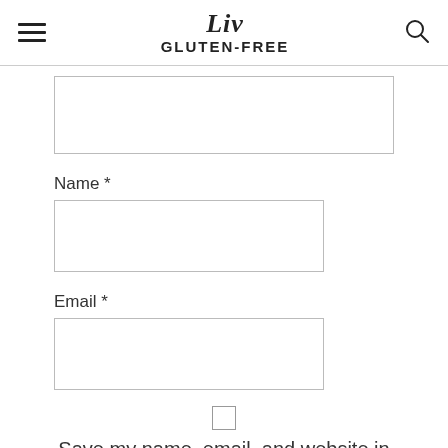Liv GLUTEN-FREE
[Figure (other): Large textarea input field (partially visible, cut off at top)]
Name *
[Figure (other): Name input text field]
Email *
[Figure (other): Email input text field]
[Figure (other): Checkbox (unchecked)]
Save my name, email, and website in this browser for the next time I comment.